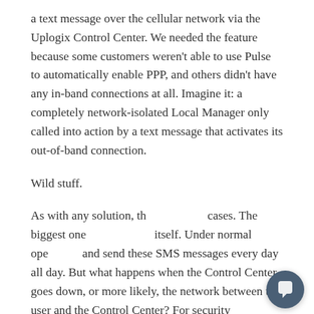a text message over the cellular network via the Uplogix Control Center. We needed the feature because some customers weren't able to use Pulse to automatically enable PPP, and others didn't have any in-band connections at all. Imagine it: a completely network-isolated Local Manager only called into action by a text message that activates its out-of-band connection.
Wild stuff.
As with any solution, th... cases. The biggest one ... itself. Under normal ope... and send these SMS messages every day all day. But what happens when the Control Center goes down, or more likely, the network between the user and the Control Center? For security
[Figure (screenshot): Chat widget popup with Uplogix logo icon at top and text 'Are you working remotely? We are too! Any questions?' with a close X button and a dark circular chat button at bottom right.]